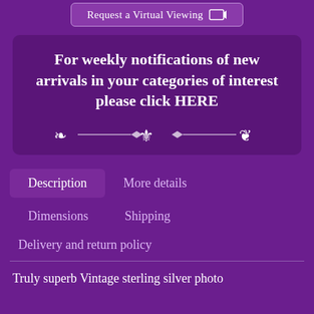[Figure (screenshot): Button labeled 'Request a Virtual Viewing' with an icon]
For weekly notifications of new arrivals in your categories of interest please click HERE
[Figure (illustration): Decorative fleur-de-lis ornament divider]
Description
More details
Dimensions
Shipping
Delivery and return policy
Truly superb Vintage sterling silver photo